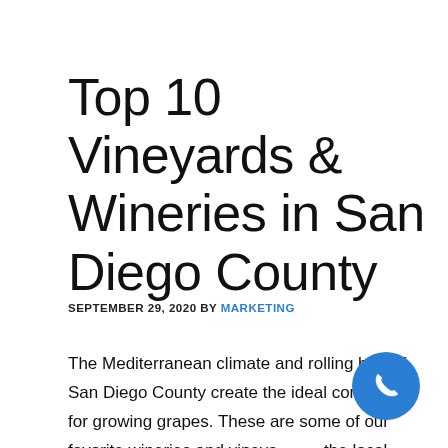Top 10 Vineyards & Wineries in San Diego County
SEPTEMBER 29, 2020 BY MARKETING
The Mediterranean climate and rolling hills of San Diego County create the ideal conditions for growing grapes. These are some of our favorite wineries and vineyards in the local area. Bernardo Winery      View this post on ...
[Figure (illustration): Blue circular phone/call button icon in the bottom right corner]